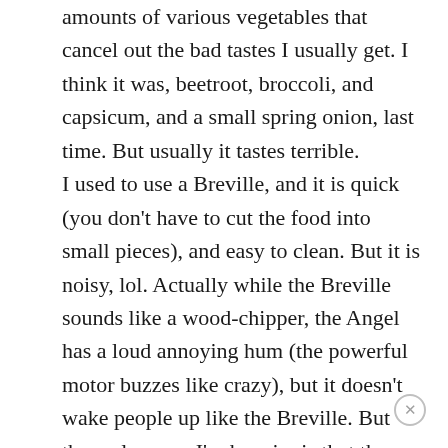amounts of various vegetables that cancel out the bad tastes I usually get. I think it was, beetroot, broccoli, and capsicum, and a small spring onion, last time. But usually it tastes terrible. I used to use a Breville, and it is quick (you don't have to cut the food into small pieces), and easy to clean. But it is noisy, lol. Actually while the Breville sounds like a wood-chipper, the Angel has a loud annoying hum (the powerful motor buzzes like crazy), but it doesn't wake people up like the Breville. But the real reason I'm happier is that the juice tastes better from my stainless-steel -twin-gears Angel juicer, probably because it's less aerated (and oxidised). But if speed is of primary concern, it's better to use a Breville than nothing. You can feed the food through faster, and it's